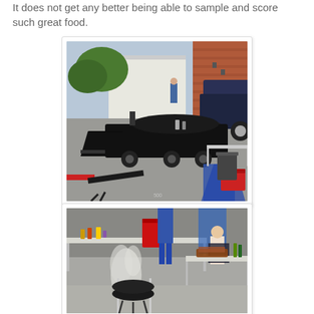It does not get any better being able to sample and score such great food.
[Figure (photo): Outdoor BBQ scene with a large black smoker trailer in a parking lot, person standing near it, pickup truck parked nearby, coolers and supplies visible.]
[Figure (photo): BBQ cooking area with a round black kettle grill emitting smoke, tables with food and condiments, two women visible in background.]